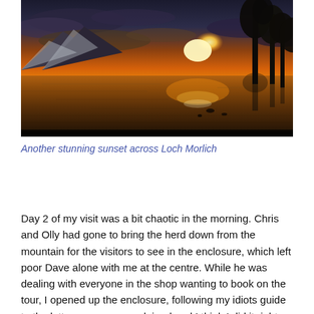[Figure (photo): A stunning sunset landscape photograph over Loch Morlich. The image shows a large body of calm water reflecting an orange and golden sunset sky. Snow-capped mountains are visible in the background on the left, and dark silhouetted trees appear on the right. The sky has dramatic clouds illuminated by the setting sun.]
Another stunning sunset across Loch Morlich
Day 2 of my visit was a bit chaotic in the morning. Chris and Olly had gone to bring the herd down from the mountain for the visitors to see in the enclosure, which left poor Dave alone with me at the centre. While he was dealing with everyone in the shop wanting to book on the tour, I opened up the enclosure, following my idiots guide to the letter - no one complained and I think I did it right